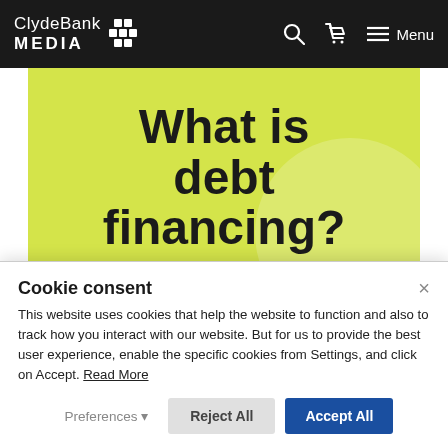ClydeBank MEDIA — navigation bar with search, cart, and menu icons
[Figure (illustration): Yellow-green hero image with bold black text reading 'What is debt financing?' on a chartreuse/lime background with a soft white circle decoration in the lower right.]
What is debt financing?
Cookie consent
This website uses cookies that help the website to function and also to track how you interact with our website. But for us to provide the best user experience, enable the specific cookies from Settings, and click on Accept. Read More